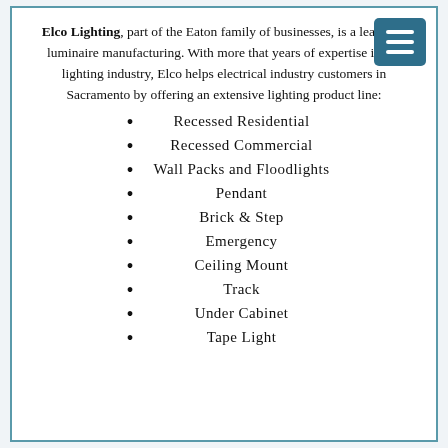Elco Lighting, part of the Eaton family of businesses, is a leader in luminaire manufacturing. With more that years of expertise in the lighting industry, Elco helps electrical industry customers in Sacramento by offering an extensive lighting product line:
Recessed Residential
Recessed Commercial
Wall Packs and Floodlights
Pendant
Brick & Step
Emergency
Ceiling Mount
Track
Under Cabinet
Tape Light